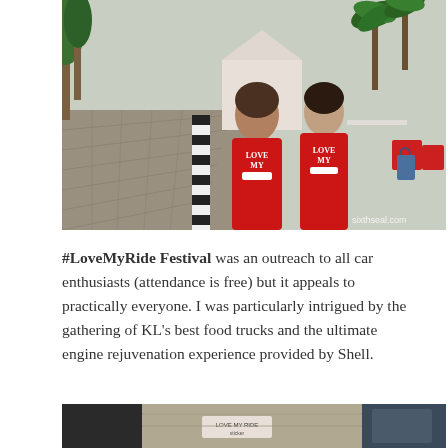[Figure (photo): Two young women wearing matching red T-shirts with 'LOVE MY' text and car graphics, standing on a paved driveway area with palm trees and a white tent in the background. A watermark reads 'sixthseal.com'.]
#LoveMyRide Festival was an outreach to all car enthusiasts (attendance is free) but it appeals to practically everyone. I was particularly intrigued by the gathering of KL's best food trucks and the ultimate engine rejuvenation experience provided by Shell.
[Figure (photo): Partial view of a car interior showing seats and a dashboard sticker, cropped at the bottom of the page.]